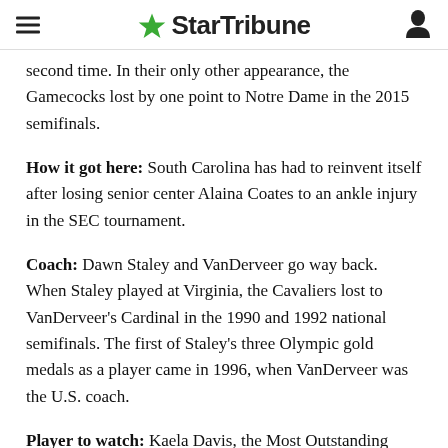StarTribune
second time. In their only other appearance, the Gamecocks lost by one point to Notre Dame in the 2015 semifinals.
How it got here: South Carolina has had to reinvent itself after losing senior center Alaina Coates to an ankle injury in the SEC tournament.
Coach: Dawn Staley and VanDerveer go way back. When Staley played at Virginia, the Cavaliers lost to VanDerveer's Cardinal in the 1990 and 1992 national semifinals. The first of Staley's three Olympic gold medals as a player came in 1996, when VanDerveer was the U.S. coach.
Player to watch: Kaela Davis, the Most Outstanding Player of the Stockton regional, is appearing in her first Final Four after transferring from Georgia Tech.